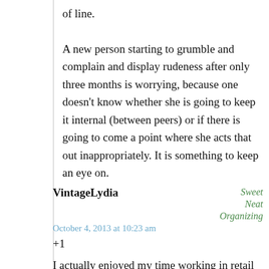of line.

A new person starting to grumble and complain and display rudeness after only three months is worrying, because one doesn't know whether she is going to keep it internal (between peers) or if there is going to come a point where she acts that out inappropriately. It is something to keep an eye on.
VintageLydia
Sweet Neat Organizing
October 4, 2013 at 10:23 am
+1
I actually enjoyed my time working in retail (when the store was fully staffed, at least) and the customers were the best part. But sometimes, when I had a [CLOSE] unreasonable customers in a row, plus pressure from TPTB to get other work done “or else” that I didn’t have